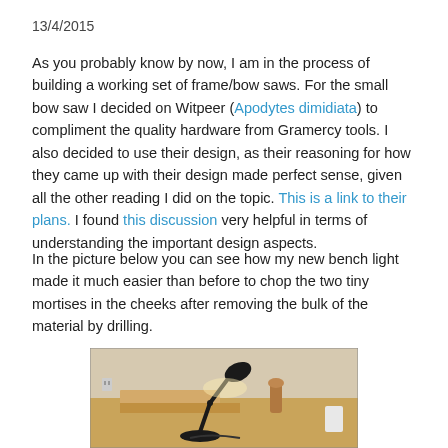13/4/2015
As you probably know by now, I am in the process of building a working set of frame/bow saws. For the small bow saw I decided on Witpeer (Apodytes dimidiata) to compliment the quality hardware from Gramercy tools. I also decided to use their design, as their reasoning for how they came up with their design made perfect sense, given all the other reading I did on the topic. This is a link to their plans. I found this discussion very helpful in terms of understanding the important design aspects.
In the picture below you can see how my new bench light made it much easier than before to chop the two tiny mortises in the cheeks after removing the bulk of the material by drilling.
[Figure (photo): Workshop bench with a black adjustable desk lamp illuminating wooden pieces and tools on a light wood workbench]